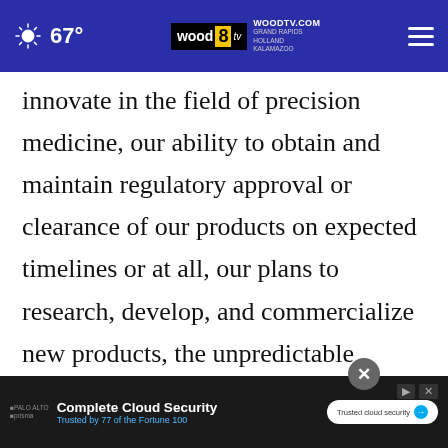67° WOODTV.COM GRAND RAPIDS HOLLAND KALAMAZOO wood 8 TV
innovate in the field of precision medicine, our ability to obtain and maintain regulatory approval or clearance of our products on expected timelines or at all, our plans to research, develop, and commercialize new products, the unpredictable relationship between preclinical study results and clinical study results, our expectations regarding future revenue generating opportunities with current or future partners, our ability to raise sufficient capital to finance our
[Figure (screenshot): Advertisement overlay: 'Complete Cloud Security - Trusted by 77 of the Fortune 100' with close button]